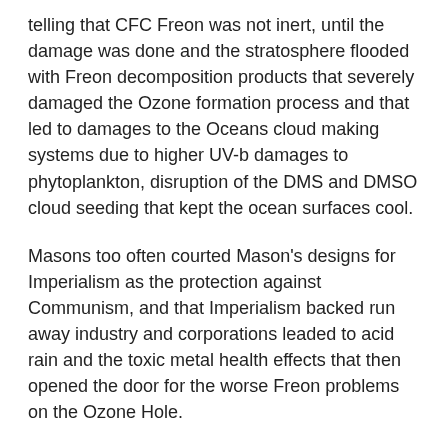telling that CFC Freon was not inert, until the damage was done and the stratosphere flooded with Freon decomposition products that severely damaged the Ozone formation process and that led to damages to the Oceans cloud making systems due to higher UV-b damages to phytoplankton, disruption of the DMS and DMSO cloud seeding that kept the ocean surfaces cool.
Masons too often courted Mason's designs for Imperialism as the protection against Communism, and that Imperialism backed run away industry and corporations leaded to acid rain and the toxic metal health effects that then opened the door for the worse Freon problems on the Ozone Hole.
Since the NASA masons games for Imperialism